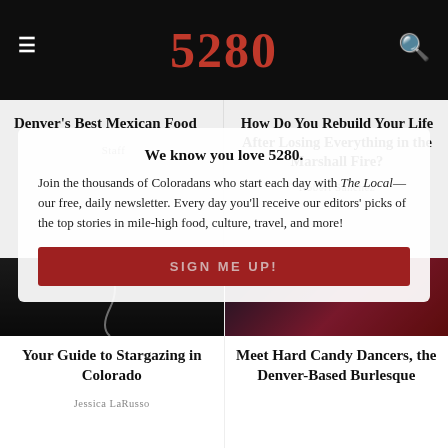5280
Denver's Best Mexican Food
Staff
How Do You Rebuild Your Life After Losing Everything in the Marshall Fire?
Robert Sanchez
We know you love 5280. Join the thousands of Coloradans who start each day with The Local—our free, daily newsletter. Every day you'll receive our editors' picks of the top stories in mile-high food, culture, travel, and more!
SIGN ME UP!
Your Guide to Stargazing in Colorado
Jessica LaRusso
Meet Hard Candy Dancers, the Denver-Based Burlesque